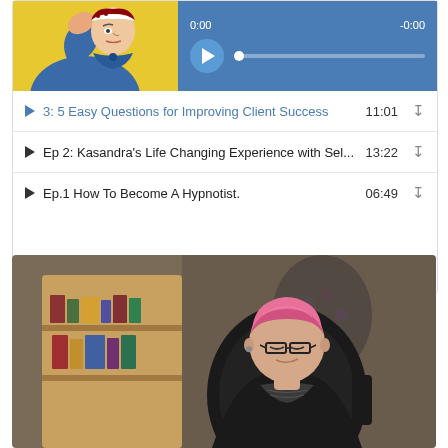[Figure (screenshot): Podcast player widget with album art (Rosie the Riveter illustration on yellow background), play button, progress bar showing 0:00 / -0:00, and a list of three episodes: Episode 3 '5 Easy Questions for Improving Client Success' (11:01), Episode 2 'Ep 2: Kasandra's Life Changing Experience with Sel...' (13:22), Episode 1 'Ep.1 How To Become A Hypnotist.' (06:49)]
[Figure (photo): Woman with short pink hair wearing glasses and a dark blazer, seated in a leather chair in front of a bookshelf, looking downward.]